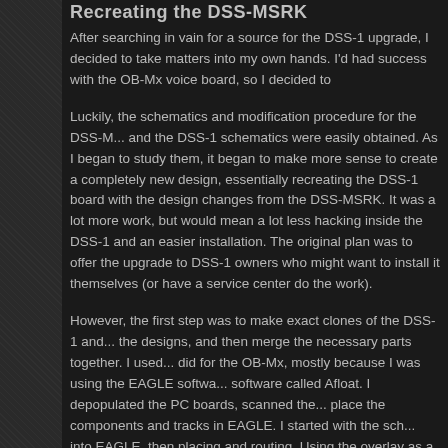Recreating the DSS-MSRK
After searching in vain for a source for the DSS-1 upgrade, I decided to take matters into my own hands. I'd had success with the OB-Mx voice board, so I decided to
Luckily, the schematics and modification procedure for the DSS-M... and the DSS-1 schematics were easily obtained. As I began to study them, it began to make more sense to create a completely new design, essentially recreating the DSS-1 board with the design changes from the DSS-MSRK. It was a lot more work, but would mean a lot less hacking inside the DSS-1 and an easier installation. The original plan was to offer the upgrade to DSS-1 owners who might want to install it themselves (or have a service center do the work).
However, the first step was to make exact clones of the DSS-1 and DSS-MSRK boards of the designs, and then merge the necessary parts together. I used a different approach than I did for the OB-Mx, mostly because I was using the EAGLE software in conjunction with a software called Afloat. I depopulated the PC boards, scanned them, and used them as overlays to place the components and tracks in EAGLE. I started with the schematic, entering it into EAGLE, then placing and routing. Using the overlay as a guide, I was able to spot any discrepancies between the PC layout and the schematic.
Once that step was completed, I began to merge the two designs